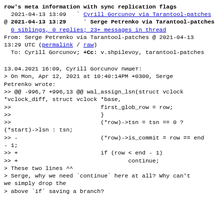row's meta information with sync replication flags
  2021-04-13 13:09  Cyrill Gorcunov via Tarantool-patches
@ 2021-04-13 13:29  Serge Petrenko via Tarantool-patches
  0 siblings, 0 replies; 23+ messages in thread
From: Serge Petrenko via Tarantool-patches @ 2021-04-13 13:29 UTC (permalink / raw)
  To: Cyrill Gorcunov; +Cc: v.shpilevoy, tarantool-patches
13.04.2021 16:09, Cyrill Gorcunov пишет:
> On Mon, Apr 12, 2021 at 10:40:14PM +0300, Serge Petrenko wrote:
>> @@ -996,7 +996,13 @@ wal_assign_lsn(struct vclock *vclock_diff, struct vclock *base,
>>                              first_glob_row = row;
>>                          }
>>                          (*row)->tsn = tsn == 0 ?
(*start)->lsn : tsn;
>> -                        (*row)->is_commit = row == end - 1;
>> +                        if (row < end - 1)
>> +                                continue;
> These two lines ^^
> Serge, why we need `continue` here at all? Why can't we simply drop the
> above `if` saving a branch?